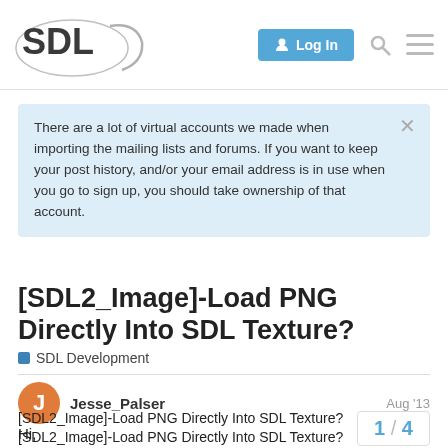SDL — Log In
There are a lot of virtual accounts we made when importing the mailing lists and forums. If you want to keep your post history, and/or your email address is in use when you go to sign up, you should take ownership of that account.
[SDL2_Image]-Load PNG Directly Into SDL Texture?
SDL Development
Jesse_Palser  Aug '13
[SDL2_Image]-Load PNG Directly Into SDL Texture?
Hi,
1 / 4